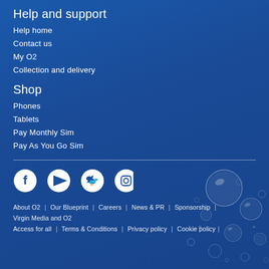Help and support
Help home
Contact us
My O2
Collection and delivery
Shop
Phones
Tablets
Pay Monthly Sim
Pay As You Go Sim
[Figure (illustration): White bubble decorations on blue background, bottom-right corner]
[Figure (infographic): Social media icons: Facebook, YouTube, Twitter, Instagram]
About O2 | Our Blueprint | Careers | News & PR | Sponsorship | Virgin Media and O2
Access for all | Terms & Conditions | Privacy policy | Cookie policy